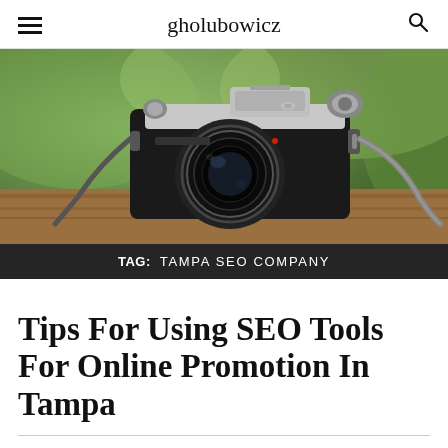gholubowicz
[Figure (photo): A vintage SLR film camera with a large lens, placed on a wooden surface with blurred green foliage in the background.]
TAG: TAMPA SEO COMPANY
Tips For Using SEO Tools For Online Promotion In Tampa
MATILDA OATLEY / OCTOBER 18, 2021